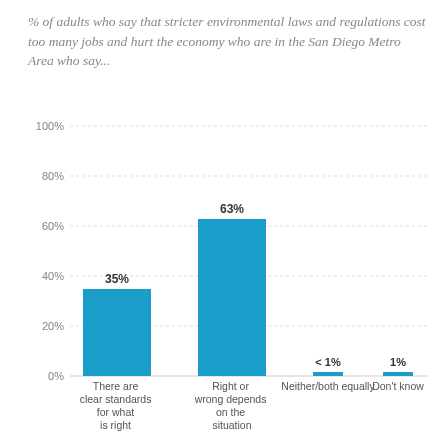% of adults who say that stricter environmental laws and regulations cost too many jobs and hurt the economy who are in the San Diego Metro Area who say...
[Figure (bar-chart): ]